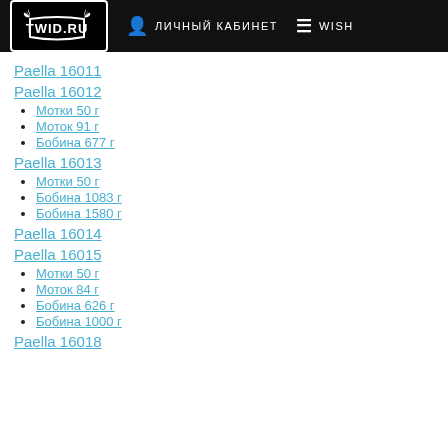TWID.RU  ЛИЧНЫЙ КАБИНЕТ  WISH
Paella 16011
Paella 16012
Мотки 50 г
Моток 91 г
Бобина 677 г
Paella 16013
Мотки 50 г
Бобина 1083 г
Бобина 1580 г
Paella 16014
Paella 16015
Мотки 50 г
Моток 84 г
Бобина 626 г
Бобина 1000 г
Paella 16018